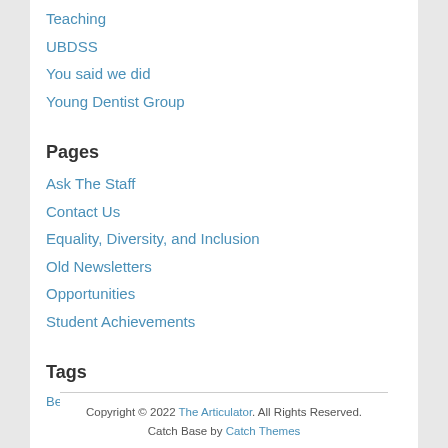Teaching
UBDSS
You said we did
Young Dentist Group
Pages
Ask The Staff
Contact Us
Equality, Diversity, and Inclusion
Old Newsletters
Opportunities
Student Achievements
Tags
Best of Bristol
Copyright © 2022 The Articulator. All Rights Reserved. Catch Base by Catch Themes